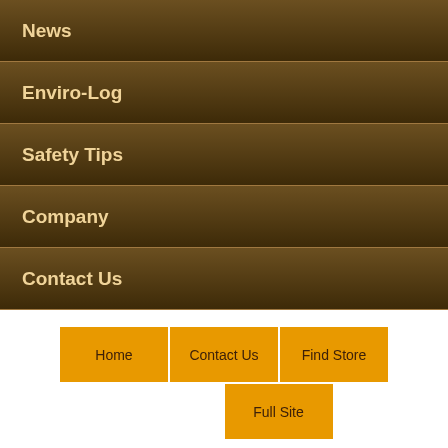News
Enviro-Log
Safety Tips
Company
Contact Us
Home
Contact Us
Find Store
Full Site